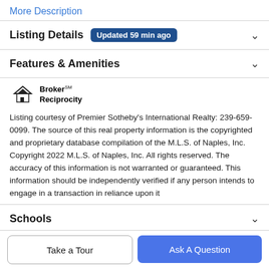More Description
Listing Details  Updated 59 min ago
Features & Amenities
[Figure (logo): Broker Reciprocity logo with house icon]
Listing courtesy of Premier Sotheby's International Realty: 239-659-0099. The source of this real property information is the copyrighted and proprietary database compilation of the M.L.S. of Naples, Inc. Copyright 2022 M.L.S. of Naples, Inc. All rights reserved. The accuracy of this information is not warranted or guaranteed. This information should be independently verified if any person intends to engage in a transaction in reliance upon it
Schools
Take a Tour
Ask A Question